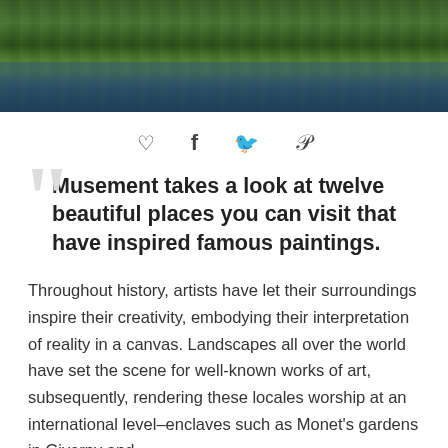[Figure (photo): A top landscape photo of lily pads and water reflections, resembling Monet's garden pond, with green foliage and dark blue-green water reflections.]
♡  f  𝕏  𝒫
Musement takes a look at twelve beautiful places you can visit that have inspired famous paintings.
Throughout history, artists have let their surroundings inspire their creativity, embodying their interpretation of reality in a canvas. Landscapes all over the world have set the scene for well-known works of art, subsequently, rendering these locales worship at an international level–enclaves such as Monet's gardens in Giverny and